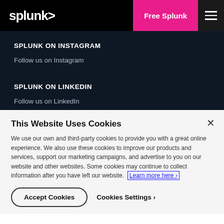splunk> Free Splunk ☰
SPLUNK ON INSTAGRAM
Follow us on Instagram
SPLUNK ON LINKEDIN
Follow us on LinkedIn
This Website Uses Cookies
We use our own and third-party cookies to provide you with a great online experience. We also use these cookies to improve our products and services, support our marketing campaigns, and advertise to you on our website and other websites. Some cookies may continue to collect information after you have left our website. Learn more here ›
Accept Cookies   Cookies Settings ›